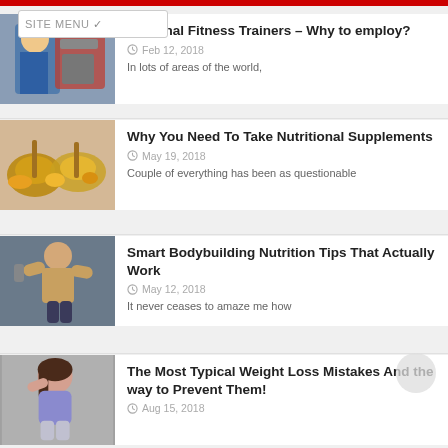SITE MENU
Personal Fitness Trainers – Why to employ?
Feb 12, 2018
In lots of areas of the world,
Why You Need To Take Nutritional Supplements
May 19, 2018
Couple of everything has been as questionable
Smart Bodybuilding Nutrition Tips That Actually Work
May 12, 2018
It never ceases to amaze me how
The Most Typical Weight Loss Mistakes And the way to Prevent Them!
Aug 15, 2018